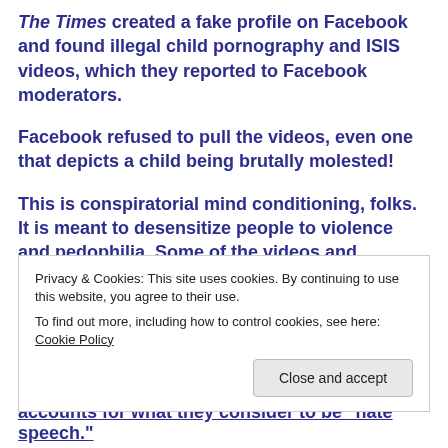The Times created a fake profile on Facebook and found illegal child pornography and ISIS videos, which they reported to Facebook moderators.
Facebook refused to pull the videos, even one that depicts a child being brutally molested!
This is conspiratorial mind conditioning, folks. It is meant to desensitize people to violence and pedophilia. Some of the videos and accounts that Facebook refused to remove praised the slaughter of
Privacy & Cookies: This site uses cookies. By continuing to use this website, you agree to their use.
To find out more, including how to control cookies, see here: Cookie Policy
accounts for what they consider to be "hate speech."